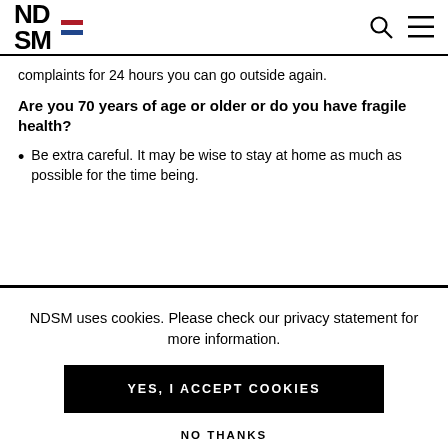NDSM [logo with Dutch flag, search icon, menu icon]
complaints for 24 hours you can go outside again.
Are you 70 years of age or older or do you have fragile health?
Be extra careful. It may be wise to stay at home as much as possible for the time being.
NDSM uses cookies. Please check our privacy statement for more information.
YES, I ACCEPT COOKIES
NO THANKS